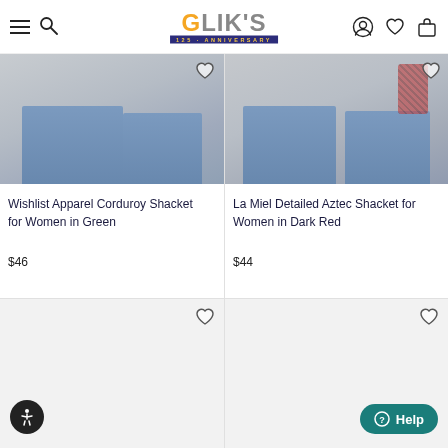Glik's 125 Anniversary - navigation header with menu, search, account, wishlist, and cart icons
[Figure (photo): Product photo of Wishlist Apparel Corduroy Shacket for Women in Green - cropped lower body view showing denim jeans and green shacket]
Wishlist Apparel Corduroy Shacket for Women in Green
$46
[Figure (photo): Product photo of La Miel Detailed Aztec Shacket for Women in Dark Red - cropped lower body view showing denim jeans and patterned shacket]
La Miel Detailed Aztec Shacket for Women in Dark Red
$44
[Figure (photo): Product photo placeholder - bottom left card, white/light gray background]
[Figure (photo): Product photo placeholder - bottom right card, white/light gray background]